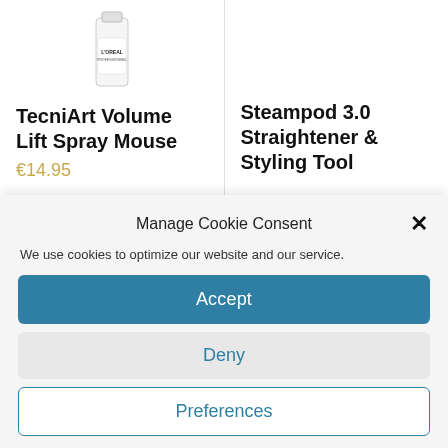[Figure (photo): L'Oreal Professional product bottle (white cylindrical container) shown at top of left product card]
TecniArt Volume Lift Spray Mouse
€14.95
Steampod 3.0 Straightener & Styling Tool
Manage Cookie Consent
We use cookies to optimize our website and our service.
Accept
Deny
Preferences